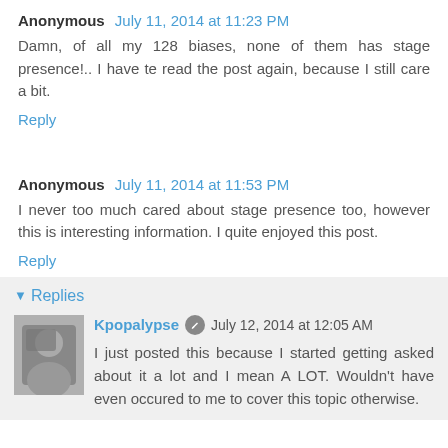Anonymous  July 11, 2014 at 11:23 PM
Damn, of all my 128 biases, none of them has stage presence!.. I have te read the post again, because I still care a bit.
Reply
Anonymous  July 11, 2014 at 11:53 PM
I never too much cared about stage presence too, however this is interesting information. I quite enjoyed this post.
Reply
Replies
Kpopalypse  July 12, 2014 at 12:05 AM
I just posted this because I started getting asked about it a lot and I mean A LOT. Wouldn't have even occured to me to cover this topic otherwise.